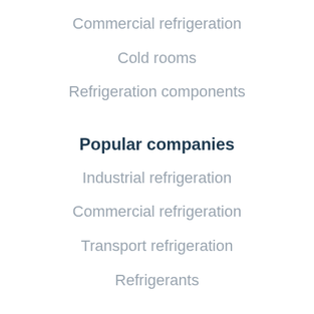Commercial refrigeration
Cold rooms
Refrigeration components
Popular companies
Industrial refrigeration
Commercial refrigeration
Transport refrigeration
Refrigerants
About